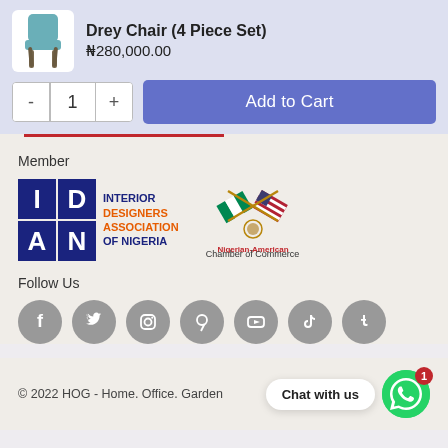[Figure (screenshot): Product listing: Drey Chair (4 Piece Set) with chair thumbnail image, price ₦280,000.00, quantity selector with minus/plus buttons showing 1, and Add to Cart button]
Member
[Figure (logo): IDAN logo - Interior Designers Association of Nigeria, with blue and orange text, alongside Nigerian-American Chamber of Commerce logo with crossed Nigerian and American flags]
Follow Us
[Figure (infographic): Row of 7 social media icons (grey circles): Facebook, Twitter, Instagram, Pinterest, YouTube, TikTok, Tumblr]
© 2022 HOG - Home. Office. Garden
[Figure (screenshot): Chat with us button and WhatsApp icon with badge showing 1]